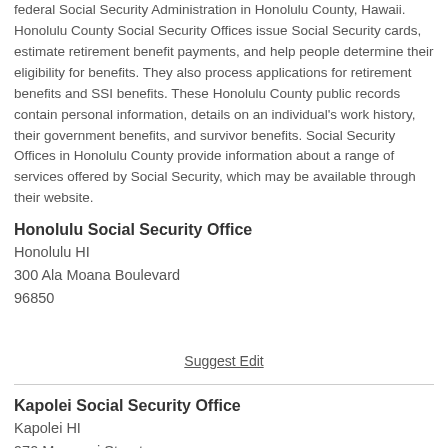federal Social Security Administration in Honolulu County, Hawaii. Honolulu County Social Security Offices issue Social Security cards, estimate retirement benefit payments, and help people determine their eligibility for benefits. They also process applications for retirement benefits and SSI benefits. These Honolulu County public records contain personal information, details on an individual's work history, their government benefits, and survivor benefits. Social Security Offices in Honolulu County provide information about a range of services offered by Social Security, which may be available through their website.
Honolulu Social Security Office
Honolulu HI
300 Ala Moana Boulevard
96850
Suggest Edit
Kapolei Social Security Office
Kapolei HI
970 Manawai Street
96707